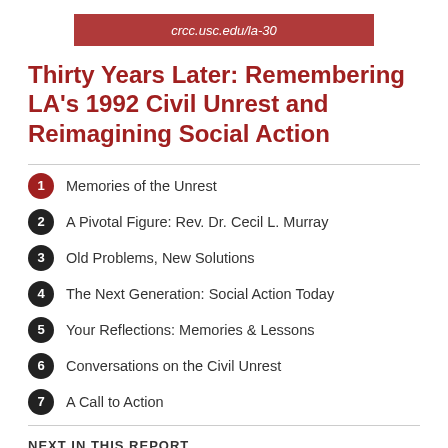crcc.usc.edu/la-30
Thirty Years Later: Remembering LA’s 1992 Civil Unrest and Reimagining Social Action
1 Memories of the Unrest
2 A Pivotal Figure: Rev. Dr. Cecil L. Murray
3 Old Problems, New Solutions
4 The Next Generation: Social Action Today
5 Your Reflections: Memories & Lessons
6 Conversations on the Civil Unrest
7 A Call to Action
NEXT IN THIS REPORT